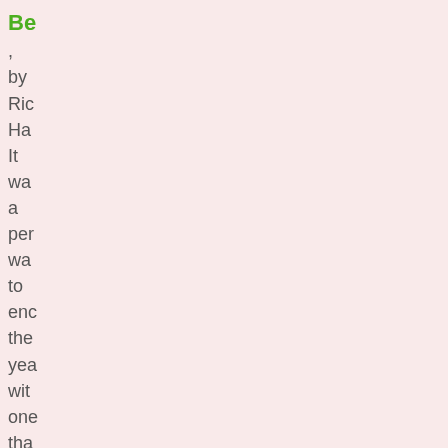Be
, by Ric Ha It wa a per wa to enc the yea wit one tha I thir will be a fav